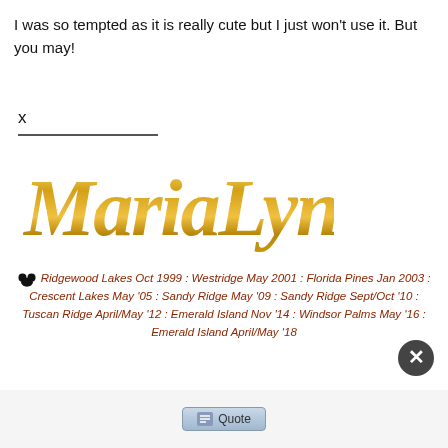I was so tempted as it is really cute but I just won't use it. But you may!
x
[Figure (illustration): Gold glitter cursive signature reading 'MariaLynda']
🐭 Ridgewood Lakes Oct 1999 : Westridge May 2001 : Florida Pines Jan 2003 : Crescent Lakes May '05 : Sandy Ridge May '09 : Sandy Ridge Sept/Oct '10 : Tuscan Ridge April/May '12 : Emerald Island Nov '14 : Windsor Palms May '16 : Emerald Island April/May '18
[Figure (other): Quote button UI element]
[Figure (other): Close/X button circle]